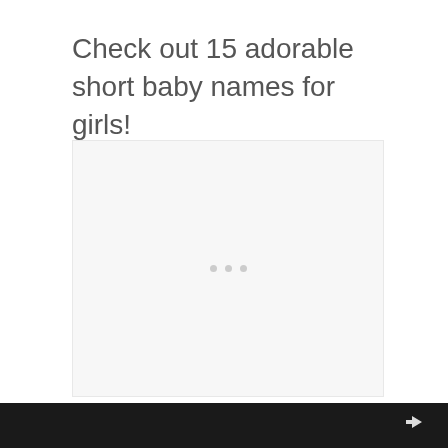Check out 15 adorable short baby names for girls!
[Figure (other): Advertisement placeholder box with light gray background and three small dots in the center]